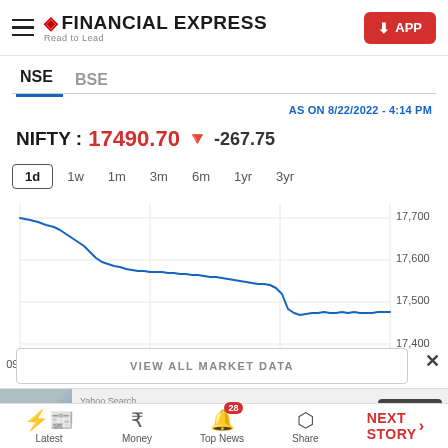FINANCIAL EXPRESS - Read to Lead | APP
NSE  BSE
AS ON 8/22/2022 - 4:14 PM
NIFTY : 17490.70 ▼ -267.75
1d  1w  1m  3m  6m  1yr  3yr
[Figure (line-chart): NIFTY 1-day chart]
VIEW ALL MARKET DATA
Yahoo Search  Don't Wait to Start Your Case  Open
Latest  Money  Top News 28  Share  NEXT STORY